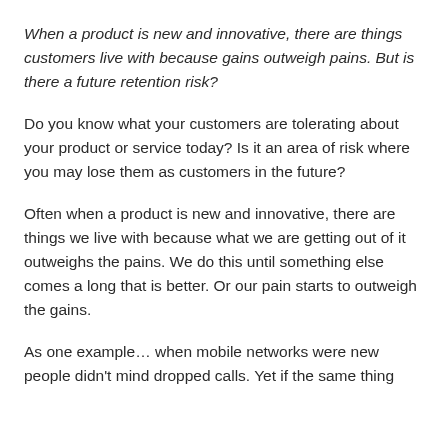When a product is new and innovative, there are things customers live with because gains outweigh pains. But is there a future retention risk?
Do you know what your customers are tolerating about your product or service today? Is it an area of risk where you may lose them as customers in the future?
Often when a product is new and innovative, there are things we live with because what we are getting out of it outweighs the pains. We do this until something else comes a long that is better. Or our pain starts to outweigh the gains.
As one example… when mobile networks were new people didn't mind dropped calls. Yet if the same thing